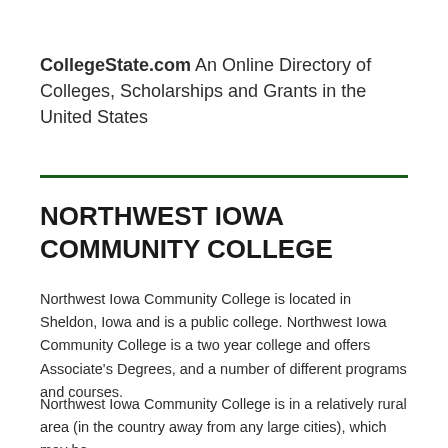CollegeState.com An Online Directory of Colleges, Scholarships and Grants in the United States
NORTHWEST IOWA COMMUNITY COLLEGE
Northwest Iowa Community College is located in Sheldon, Iowa and is a public college. Northwest Iowa Community College is a two year college and offers Associate's Degrees, and a number of different programs and courses.
Northwest Iowa Community College is in a relatively rural area (in the country away from any large cities), which may be